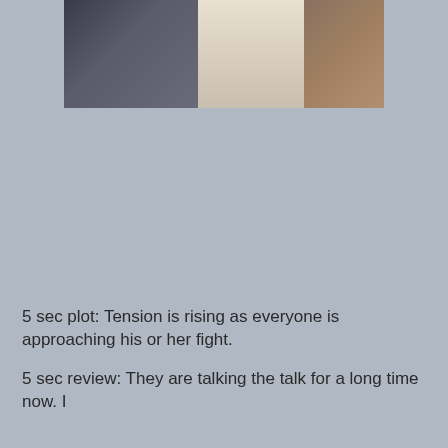[Figure (photo): A photograph showing figures in a scene, with a dark feathered or furry figure on the left, a light/white dressed figure in the center, and warm-toned wooden background on the right.]
5 sec plot: Tension is rising as everyone is approaching his or her fight.
5 sec review: They are talking the talk for a long time now. I